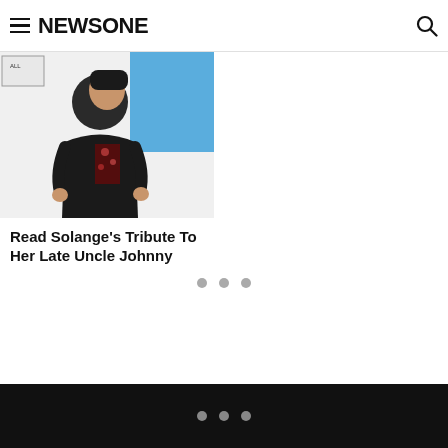NEWSONE
[Figure (photo): Photo of a person in dark clothing at an event with a blue backdrop]
Read Solange's Tribute To Her Late Uncle Johnny
• • •
• • •